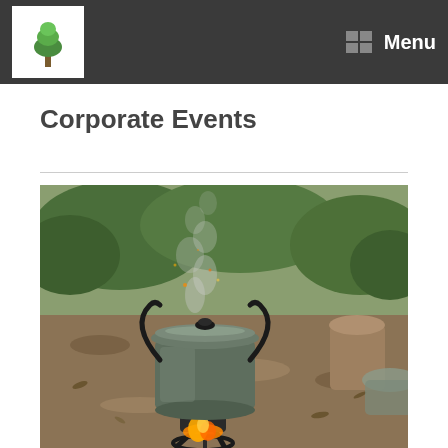Menu
Corporate Events
[Figure (photo): Outdoor cooking scene: a large metal pot with a lid on a portable stove over an open flame, with smoke rising, set in a natural outdoor environment with trees and foliage in the background.]